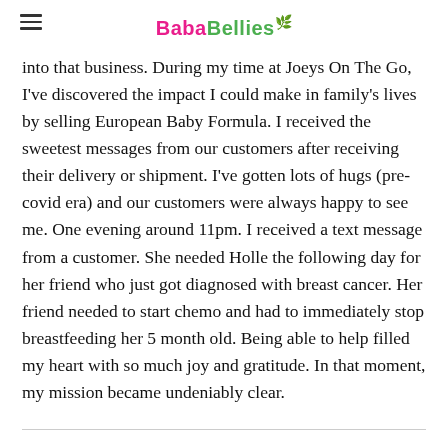BabaBellies
into that business. During my time at Joeys On The Go, I've discovered the impact I could make in family's lives by selling European Baby Formula. I received the sweetest messages from our customers after receiving their delivery or shipment. I've gotten lots of hugs (pre-covid era) and our customers were always happy to see me. One evening around 11pm. I received a text message from a customer. She needed Holle the following day for her friend who just got diagnosed with breast cancer. Her friend needed to start chemo and had to immediately stop breastfeeding her 5 month old. Being able to help filled my heart with so much joy and gratitude. In that moment, my mission became undeniably clear.